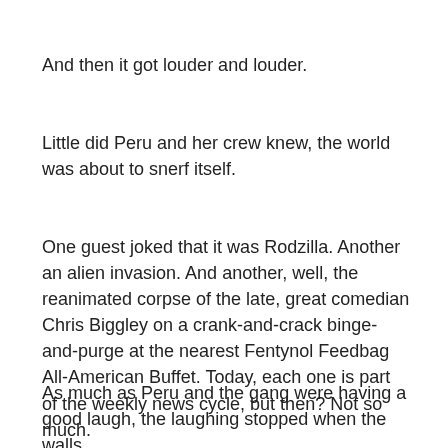And then it got louder and louder.
Little did Peru and her crew knew, the world was about to snerf itself.
One guest joked that it was Rodzilla. Another an alien invasion. And another, well, the reanimated corpse of the late, great comedian Chris Biggley on a crank-and-crack binge-and-purge at the nearest Fentynol Feedbag All-American Buffet. Today, each one is part of the weekly news cycle, but then? Not so much.
As much as Peru and the gang were having a good laugh, the laughing stopped when the walls of the…